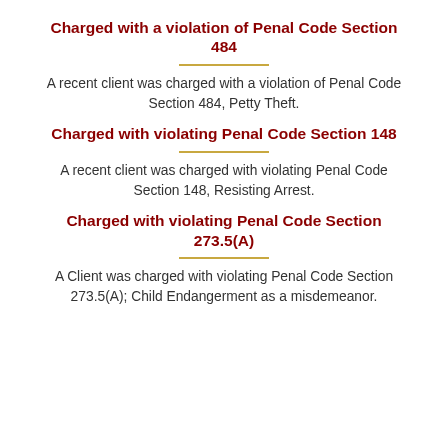Charged with a violation of Penal Code Section 484
A recent client was charged with a violation of Penal Code Section 484, Petty Theft.
Charged with violating Penal Code Section 148
A recent client was charged with violating Penal Code Section 148, Resisting Arrest.
Charged with violating Penal Code Section 273.5(A)
A Client was charged with violating Penal Code Section 273.5(A); Child Endangerment as a misdemeanor.